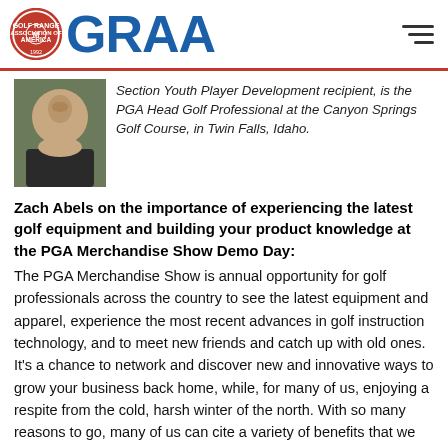GRAA
[Figure (photo): Headshot of a man wearing a dark polo shirt, outdoors.]
Section Youth Player Development recipient, is the PGA Head Golf Professional at the Canyon Springs Golf Course, in Twin Falls, Idaho.
Zach Abels on the importance of experiencing the latest golf equipment and building your product knowledge at the PGA Merchandise Show Demo Day:
The PGA Merchandise Show is annual opportunity for golf professionals across the country to see the latest equipment and apparel, experience the most recent advances in golf instruction technology, and to meet new friends and catch up with old ones. It's a chance to network and discover new and innovative ways to grow your business back home, while, for many of us, enjoying a respite from the cold, harsh winter of the north. With so many reasons to go, many of us can cite a variety of benefits that we reap from attending. One big advantage I gain from going is the opportunity to be part of